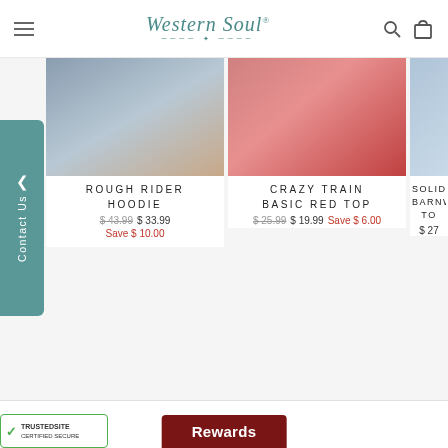Western Soul — navigation header with logo, hamburger menu, search icon, and bag icon
[Figure (screenshot): Product image for Rough Rider Hoodie — blurred clothing photo]
ROUGH RIDER HOODIE
$ 43.99  $ 33.99  Save $ 10.00
[Figure (screenshot): Product image for Crazy Train Basic Red Top — blurred red clothing photo]
CRAZY TRAIN BASIC RED TOP
$ 25.99  $ 19.99  Save $ 6.00
[Figure (screenshot): Partially visible third product — SOLID C BARNWO TO — cropped on right edge]
SOLID C BARNWO TO
$ 27
[Figure (logo): Sezzle logo with colorful swirl icon and brand name text with registered mark]
Buy Now Pay Later.
[Figure (logo): TrustedSite Certified Secure badge]
Rewards